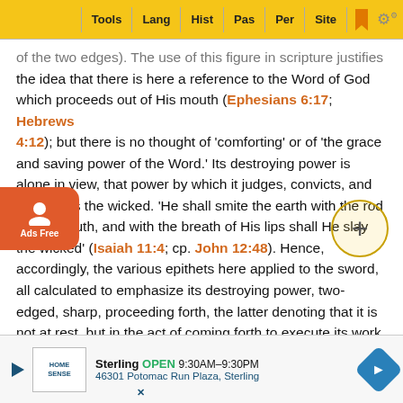Tools | Lang | Hist | Pas | Per | Site
of the two edges). The use of this figure in scripture justifies the idea that there is here a reference to the Word of God which proceeds out of His mouth (Ephesians 6:17; Hebrews 4:12); but there is no thought of 'comforting' or of 'the grace and saving power of the Word.' Its destroying power is alone in view, that power by which it judges, convicts, and condemns the wicked. 'He shall smite the earth with the rod of His mouth, and with the breath of His lips shall He slay the wicked' (Isaiah 11:4; cp. John 12:48). Hence, accordingly, the various epithets here applied to the sword, all calculated to emphasize its destroying power, two-edged, sharp, proceeding forth, the latter denoting that it is not at rest, but in the act of coming forth to execute its work.
And his countenance as the sun shineth in his power. T… particular of Christ's equipment. We might have …ected this particular to be connected with the previous group… …ction now a… …e sanc… …of the